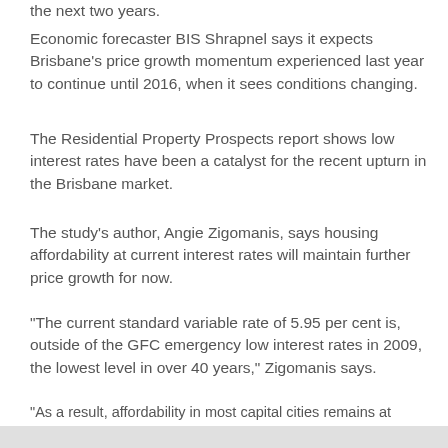the next two years.
Economic forecaster BIS Shrapnel says it expects Brisbane's price growth momentum experienced last year to continue until 2016, when it sees conditions changing.
The Residential Property Prospects report shows low interest rates have been a catalyst for the recent upturn in the Brisbane market.
The study's author, Angie Zigomanis, says housing affordability at current interest rates will maintain further price growth for now.
“The current standard variable rate of 5.95 per cent is, outside of the GFC emergency low interest rates in 2009, the lowest level in over 40 years,” Zigomanis says.
“As a result, affordability in most capital cities remains at early-2000 levels, which should be supportive of price growth.”